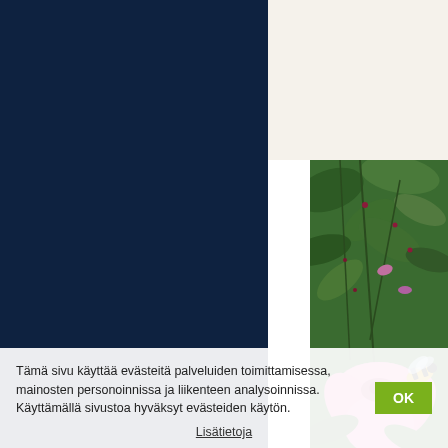[Figure (photo): Dark navy blue background panel on the left side of the page]
[Figure (photo): Cream/off-white background panel on the upper right]
[Figure (photo): Close-up photo of a bee on a pink flower with green foliage in the background]
Tämä sivu käyttää evästeitä palveluiden toimittamisessa, mainosten personoinnissa ja liikenteen analysoinnissa. Käyttämällä sivustoa hyväksyt evästeiden käytön.
Lisätietoja